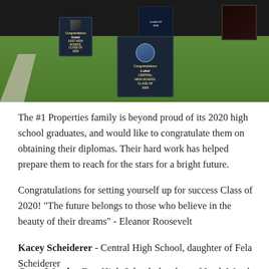[Figure (photo): Outdoor photo showing multiple graduation yard signs displayed on a grass lawn, featuring personalized signs congratulating 2020 high school graduates from East High School and Central High School]
The #1 Properties family is beyond proud of its 2020 high school graduates, and would like to congratulate them on obtaining their diplomas. Their hard work has helped prepare them to reach for the stars for a bright future.
Congratulations for setting yourself up for success Class of 2020! "The future belongs to those who believe in the beauty of their dreams" - Eleanor Roosevelt
Kacey Scheiderer - Central High School, daughter of Fela Scheiderer
Greta Woods - East High School, daughter of Leah Woods